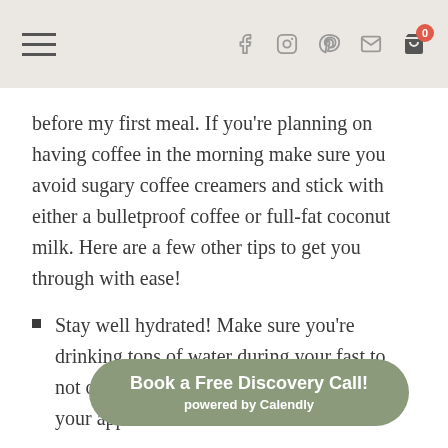[hamburger menu] [facebook] [instagram] [pinterest] [email] [cart 0]
before my first meal. If you're planning on having coffee in the morning make sure you avoid sugary coffee creamers and stick with either a bulletproof coffee or full-fat coconut milk. Here are a few other tips to get you through with ease!
Stay well hydrated! Make sure you're drinking tons of water during your fast to not only keep you hydrated but to help curb your appetite as well.
Keep bu... have nothing to occupy your time
Book a Free Discovery Call! powered by Calendly